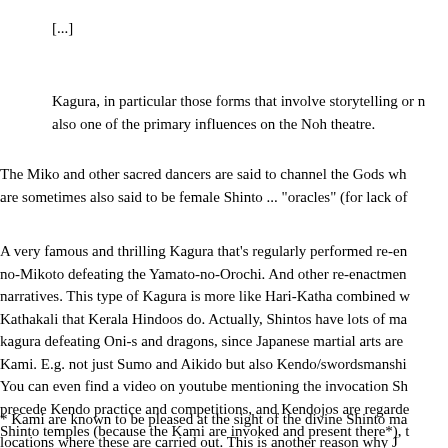[...]
Kagura, in particular those forms that involve storytelling or n also one of the primary influences on the Noh theatre.
The Miko and other sacred dancers are said to channel the Gods wh are sometimes also said to be female Shinto ... "oracles" (for lack of
A very famous and thrilling Kagura that's regularly performed re-en no-Mikoto defeating the Yamato-no-Orochi. And other re-enactmen narratives. This type of Kagura is more like Hari-Katha combined w Kathakali that Kerala Hindoos do. Actually, Shintos have lots of ma kagura defeating Oni-s and dragons, since Japanese martial arts are Kami. E.g. not just Sumo and Aikido but also Kendo/swordsmanshi You can even find a video on youtube mentioning the invocation Sh precede Kendo practice and competitions, and Kendojos are regarde Shinto temples (because the Kami are invoked and present there*), t halls/grounds are regarded sacred for the presence of Hindu Gods th
* Kami are known to be pleased at the sight of the divine Shinto ma locations where these are carried out. This is another reason why J